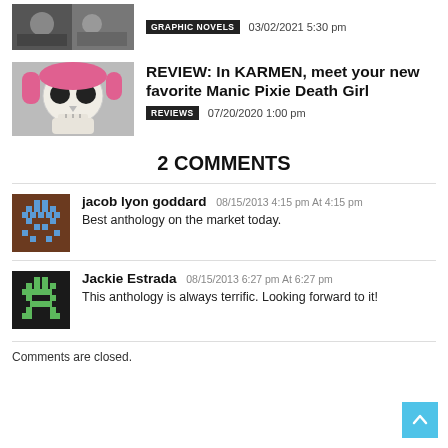[Figure (photo): Thumbnail image for graphic novels article]
GRAPHIC NOVELS   03/02/2021 5:30 pm
[Figure (illustration): Skull with pink hair - KARMEN review thumbnail]
REVIEW: In KARMEN, meet your new favorite Manic Pixie Death Girl
REVIEWS   07/20/2020 1:00 pm
2 COMMENTS
[Figure (photo): Avatar for jacob lyon goddard - pixel art space invader style in brown and blue]
jacob lyon goddard 08/15/2013 4:15 pm At 4:15 pm
Best anthology on the market today.
[Figure (photo): Avatar for Jackie Estrada - pixel art space invader style in green]
Jackie Estrada 08/15/2013 6:27 pm At 6:27 pm
This anthology is always terrific. Looking forward to it!
Comments are closed.